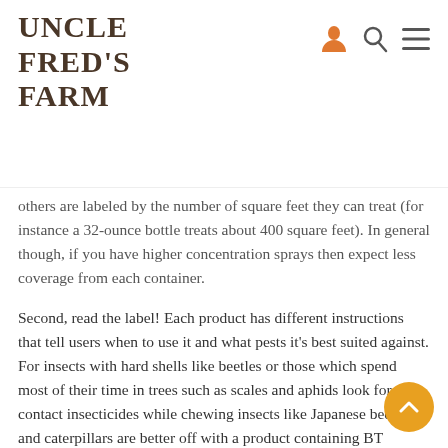UNCLE FRED'S FARM
others are labeled by the number of square feet they can treat (for instance a 32-ounce bottle treats about 400 square feet). In general though, if you have higher concentration sprays then expect less coverage from each container.
Second, read the label! Each product has different instructions that tell users when to use it and what pests it's best suited against. For insects with hard shells like beetles or those which spend most of their time in trees such as scales and aphids look for contact insecticides while chewing insects like Japanese beetles and caterpillars are better off with a product containing BT (Bacillus thuringiensis).
Last, consider what you need. If your plants have no flowers or fruit then there's little reason to worry about saving beneficial pollinators or songbirds that might eat the insects that eat the plants that you have.